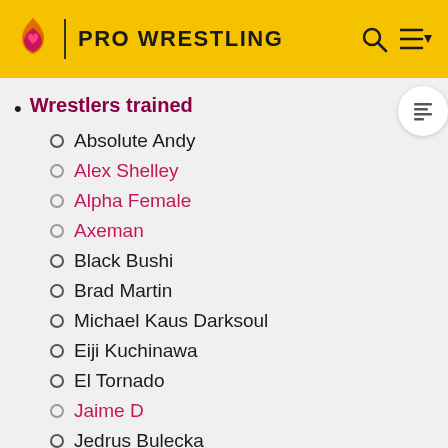PRO WRESTLING
Wrestlers trained
Absolute Andy
Alex Shelley
Alpha Female
Axeman
Black Bushi
Brad Martin
Michael Kaus Darksoul
Eiji Kuchinawa
El Tornado
Jaime D
Jedrus Bulecka
Kamil Aleksander
Klarys